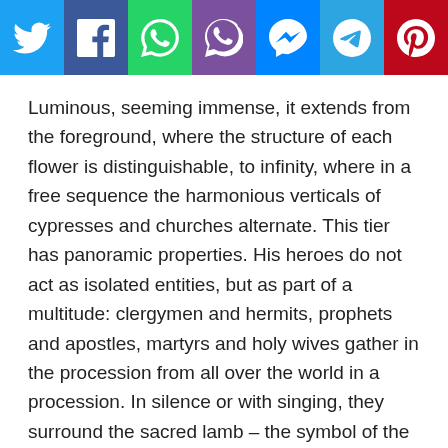[Figure (infographic): Social media sharing buttons bar: Twitter (blue), Facebook (dark blue), WhatsApp (green), Viber (purple), Messenger (blue), Telegram (light blue), Pinterest (red), each with white icon]
Luminous, seeming immense, it extends from the foreground, where the structure of each flower is distinguishable, to infinity, where in a free sequence the harmonious verticals of cypresses and churches alternate. This tier has panoramic properties. His heroes do not act as isolated entities, but as part of a multitude: clergymen and hermits, prophets and apostles, martyrs and holy wives gather in the procession from all over the world in a procession. In silence or with singing, they surround the sacred lamb – the symbol of the sacrificial mission of Christ.
Before us are their solemn communities, in all its beauty, the terrestrial and celestial openings open,